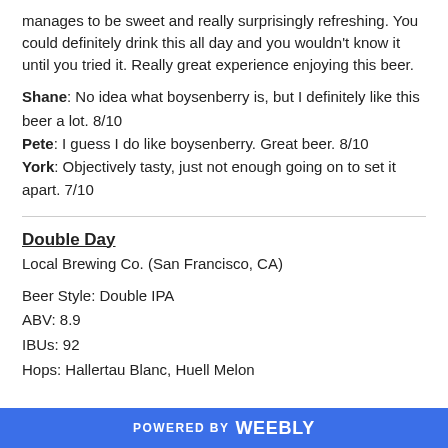manages to be sweet and really surprisingly refreshing. You could definitely drink this all day and you wouldn't know it until you tried it. Really great experience enjoying this beer.
Shane: No idea what boysenberry is, but I definitely like this beer a lot. 8/10
Pete: I guess I do like boysenberry. Great beer. 8/10
York: Objectively tasty, just not enough going on to set it apart. 7/10
Double Day
Local Brewing Co. (San Francisco, CA)
Beer Style: Double IPA
ABV: 8.9
IBUs: 92
Hops: Hallertau Blanc, Huell Melon
POWERED BY weebly